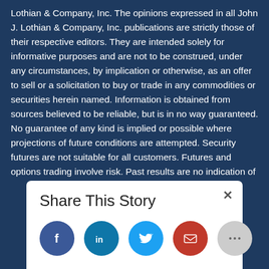Lothian & Company, Inc. The opinions expressed in all John J. Lothian & Company, Inc. publications are strictly those of their respective editors. They are intended solely for informative purposes and are not to be construed, under any circumstances, by implication or otherwise, as an offer to sell or a solicitation to buy or trade in any commodities or securities herein named. Information is obtained from sources believed to be reliable, but is in no way guaranteed. No guarantee of any kind is implied or possible where projections of future conditions are attempted. Security futures are not suitable for all customers. Futures and options trading involve risk. Past results are no indication of
[Figure (infographic): Share This Story panel with close button (×) and five circular social media icons: Facebook (dark blue, f), LinkedIn (teal blue, in), Twitter (light blue, bird), Email (red, envelope), More (gray, ...)]